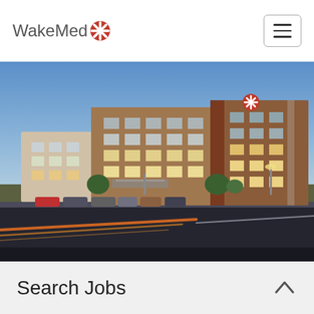WakeMed
[Figure (photo): Exterior night/dusk photo of the WakeMed hospital building, a modern multi-story brick and glass structure with illuminated windows, parked cars in front, and light trails from passing traffic on the road in the foreground against a blue sky.]
Search Jobs